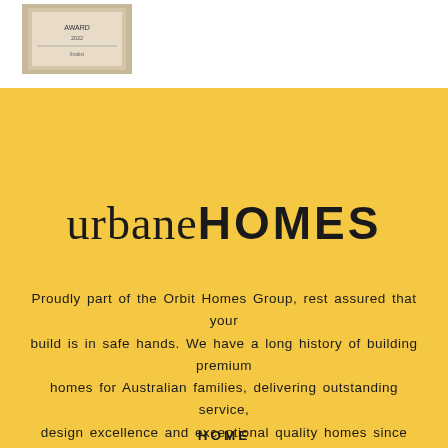[Figure (photo): Award plaque or certificate image in upper left corner]
urbaneHOMES
Proudly part of the Orbit Homes Group, rest assured that your build is in safe hands. We have a long history of building premium homes for Australian families, delivering outstanding service, design excellence and exceptional quality homes since 1979.
HOME
THE URBANE WAY
OUR HOMES
CONTACT US
BACK TO TOP